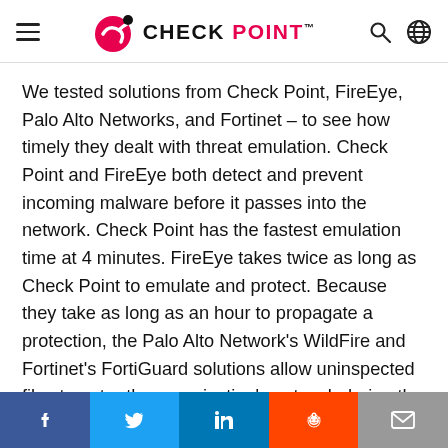CHECK POINT (logo header with hamburger menu, search, and globe icons)
We tested solutions from Check Point, FireEye, Palo Alto Networks, and Fortinet – to see how timely they dealt with threat emulation. Check Point and FireEye both detect and prevent incoming malware before it passes into the network. Check Point has the fastest emulation time at 4 minutes. FireEye takes twice as long as Check Point to emulate and protect. Because they take as long as an hour to propagate a protection, the Palo Alto Network's WildFire and Fortinet's FortiGuard solutions allow uninspected files to enter the organization's network during the emulation and signature updating process. Allowing
Social share bar: Facebook, Twitter, LinkedIn, Reddit, Email